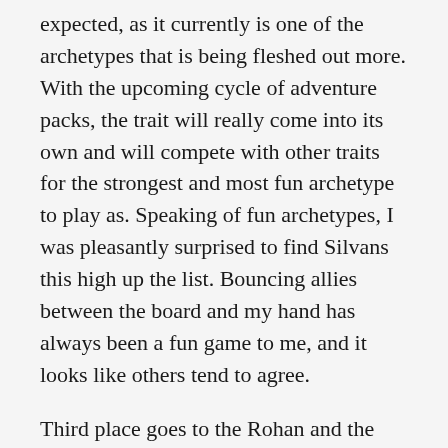expected, as it currently is one of the archetypes that is being fleshed out more. With the upcoming cycle of adventure packs, the trait will really come into its own and will compete with other traits for the strongest and most fun archetype to play as. Speaking of fun archetypes, I was pleasantly surprised to find Silvans this high up the list. Bouncing allies between the board and my hand has always been a fun game to me, and it looks like others tend to agree.
Third place goes to the Rohan and the Noldor trait. Both are very widespread in terms of their card pool, and they make for great decks that can quest well, and pack a decent punch. The Mountain of Fire expansion will also have strengthened the